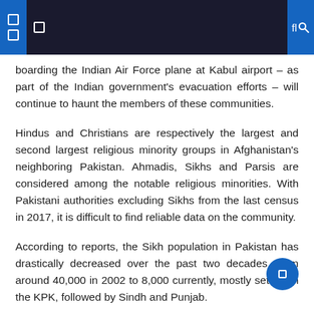Navigation header with icons
boarding the Indian Air Force plane at Kabul airport – as part of the Indian government's evacuation efforts – will continue to haunt the members of these communities.
Hindus and Christians are respectively the largest and second largest religious minority groups in Afghanistan's neighboring Pakistan. Ahmadis, Sikhs and Parsis are considered among the notable religious minorities. With Pakistani authorities excluding Sikhs from the last census in 2017, it is difficult to find reliable data on the community.
According to reports, the Sikh population in Pakistan has drastically decreased over the past two decades, from around 40,000 in 2002 to 8,000 currently, mostly settled in the KPK, followed by Sindh and Punjab.
Along with education, poverty and discrimination, pressure to